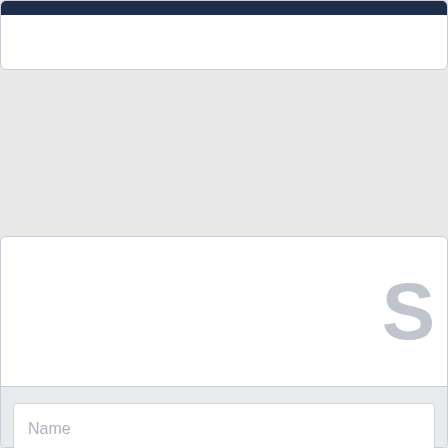[Figure (screenshot): Top portion of a web form card, partially visible with a dark navy header bar at the top]
[Figure (screenshot): Web registration/signup form card with white header area showing partial letter 'S', and a light gray form section containing Name input (empty), Email input (empty), location input pre-filled with 'Ashburn, VA US', a checkbox for terms of service agreement, and a dark navy submit button]
Name
Email
Ashburn, VA US
I agree to the terms of service and privacy policy.